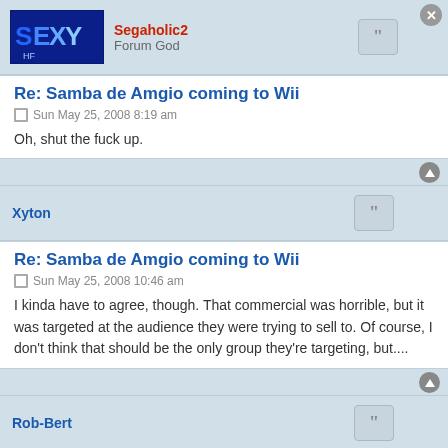Segaholic2
Forum God
Re: Samba de Amgio coming to Wii
Sun May 25, 2008 8:19 am
Oh, shut the fuck up.
Xyton
Re: Samba de Amgio coming to Wii
Sun May 25, 2008 10:46 am
I kinda have to agree, though. That commercial was horrible, but it was targeted at the audience they were trying to sell to. Of course, I don't think that should be the only group they're targeting, but....
Rob-Bert
Re: Samba de Amgio coming to Wii